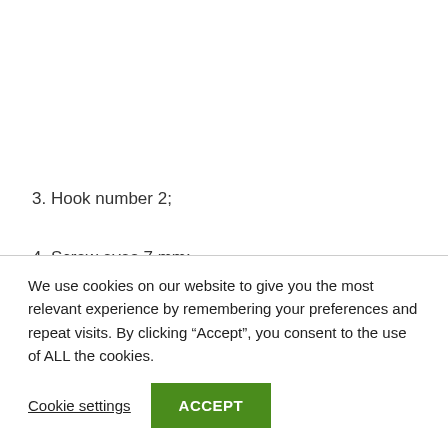3. Hook number 2;
4. Screw eyes 7 mm;
We use cookies on our website to give you the most relevant experience by remembering your preferences and repeat visits. By clicking “Accept”, you consent to the use of ALL the cookies.
Cookie settings   ACCEPT